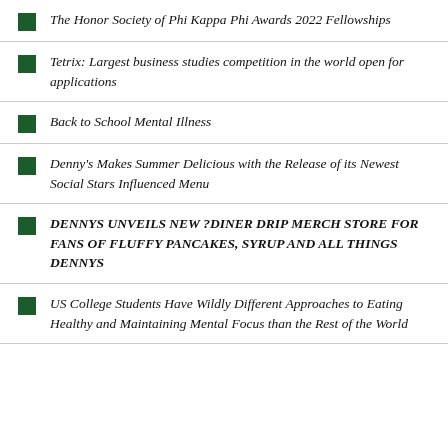The Honor Society of Phi Kappa Phi Awards 2022 Fellowships
Tetrix: Largest business studies competition in the world open for applications
Back to School Mental Illness
Denny's Makes Summer Delicious with the Release of its Newest Social Stars Influenced Menu
DENNYS UNVEILS NEW ?DINER DRIP MERCH STORE FOR FANS OF FLUFFY PANCAKES, SYRUP AND ALL THINGS DENNYS
US College Students Have Wildly Different Approaches to Eating Healthy and Maintaining Mental Focus than the Rest of the World